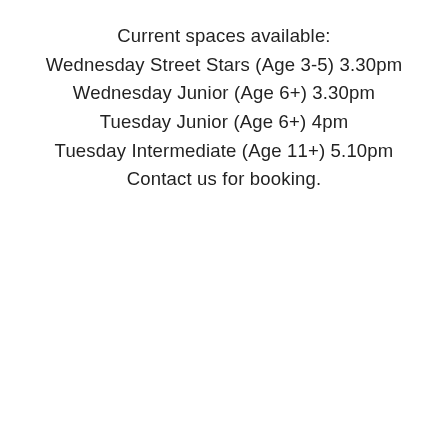Current spaces available:
Wednesday Street Stars (Age 3-5) 3.30pm
Wednesday Junior (Age 6+) 3.30pm
Tuesday Junior (Age 6+) 4pm
Tuesday Intermediate (Age 11+) 5.10pm
Contact us for booking.